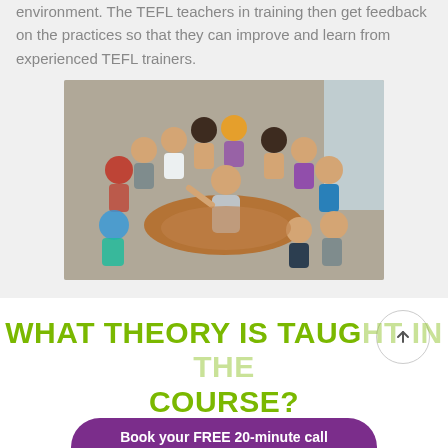environment. The TEFL teachers in training then get feedback on the practices so that they can improve and learn from experienced TEFL trainers.
[Figure (photo): A group of people sitting in a circle in a modern room. A person standing with back to camera appears to be leading or presenting to the group.]
WHAT THEORY IS TAUGHT IN THE COURSE?
Book your FREE 20-minute call powered by Calendly